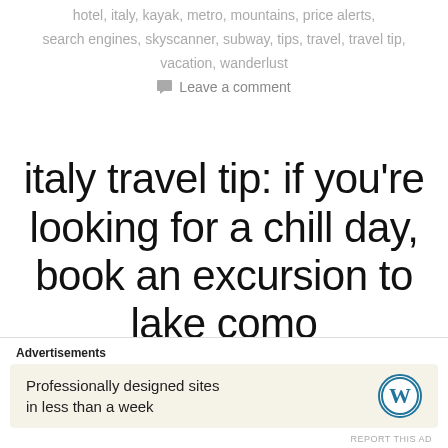hotel, italy, kayak, metro, mountains, price alerts, search engines, skyscanner, subway, tips, travel, travel tip, vacation, wanderlust
Leave a comment
italy travel tip: if you're looking for a chill day, book an excursion to lake como
[Figure (photo): Partial view of a scenic landscape showing blue sky and a green tree, likely Lake Como area]
Advertisements
Professionally designed sites in less than a week